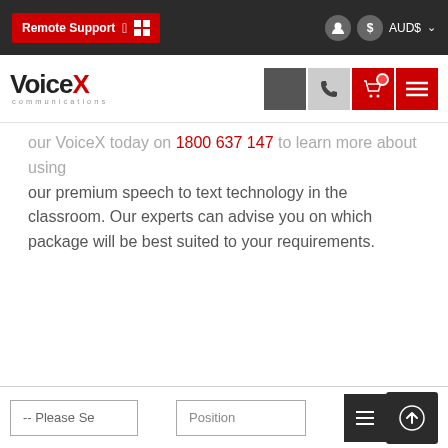Remote Support  AUD$
[Figure (logo): VoiceX Communications logo with navigation icons]
our VoiceX today on 1800 637 147 to learn more about using our premium speech to text technology in the classroom. Our experts can advise you on which package will be best suited to your requirements.
-- Please Se    Position